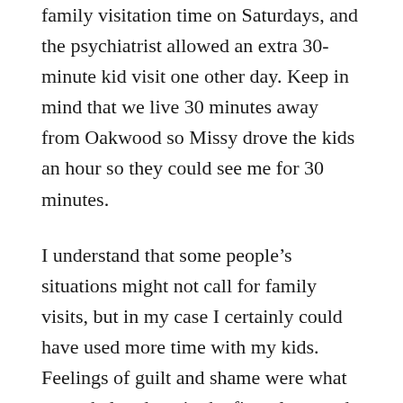family visitation time on Saturdays, and the psychiatrist allowed an extra 30-minute kid visit one other day. Keep in mind that we live 30 minutes away from Oakwood so Missy drove the kids an hour so they could see me for 30 minutes.
I understand that some people's situations might not call for family visits, but in my case I certainly could have used more time with my kids. Feelings of guilt and shame were what overwhelmed me in the first place, and now I was separated from my family for six days, facing a $5000 bill. I am extremely grateful that my mother-in-law was able to drive down from Kansas and help Missy take care of the kids while I was there. Even still, I felt worse about myself because I was racking up a huge expense for our family while not being able to